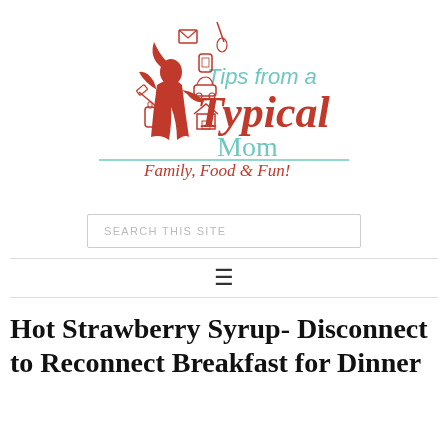[Figure (logo): Tips from a Typical Mom blog logo featuring a red female silhouette surrounded by floating household icons (envelope, whisk, phone, car, house, baby bottle, hammer), with 'Tips from a' in teal script, 'Typical' in red cursive, 'Mom' in teal, and 'Family, Food & Fun!' tagline below]
SEARCH THIS SITE
[Figure (other): Hamburger menu icon (three horizontal lines)]
Hot Strawberry Syrup- Disconnect to Reconnect Breakfast for Dinner